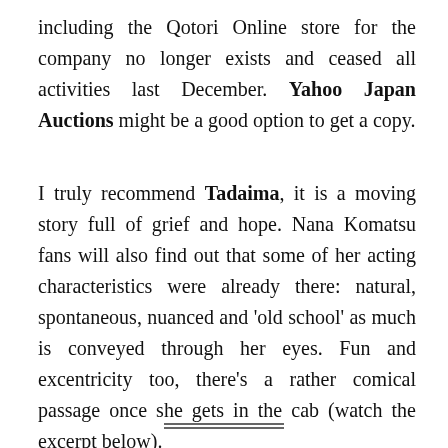including the Qotori Online store for the company no longer exists and ceased all activities last December. Yahoo Japan Auctions might be a good option to get a copy.
I truly recommend Tadaima, it is a moving story full of grief and hope. Nana Komatsu fans will also find out that some of her acting characteristics were already there: natural, spontaneous, nuanced and 'old school' as much is conveyed through her eyes. Fun and excentricity too, there’s a rather comical passage once she gets in the cab (watch the excerpt below).